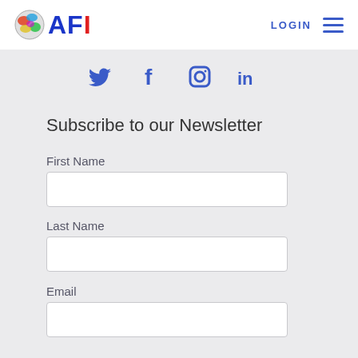AFI — LOGIN
[Figure (logo): AFI logo with globe icon, blue letters A F and red letter I]
LOGIN
[Figure (infographic): Social media icons: Twitter, Facebook, Instagram, LinkedIn in blue]
Subscribe to our Newsletter
First Name
Last Name
Email